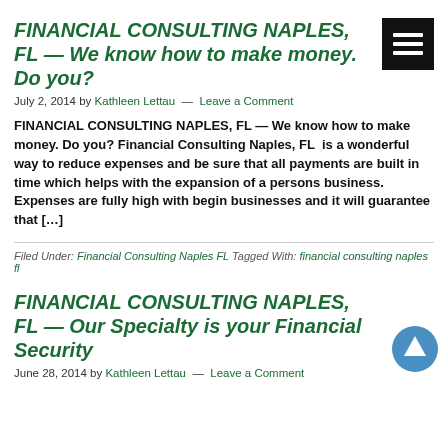FINANCIAL CONSULTING NAPLES, FL — We know how to make money. Do you?
July 2, 2014 by Kathleen Lettau — Leave a Comment
FINANCIAL CONSULTING NAPLES, FL — We know how to make money. Do you? Financial Consulting Naples, FL  is a wonderful way to reduce expenses and be sure that all payments are built in time which helps with the expansion of a persons business. Expenses are fully high with begin businesses and it will guarantee that […]
Filed Under: Financial Consulting Naples FL Tagged With: financial consulting naples fl
FINANCIAL CONSULTING NAPLES, FL — Our Specialty is your Financial Security
June 28, 2014 by Kathleen Lettau — Leave a Comment